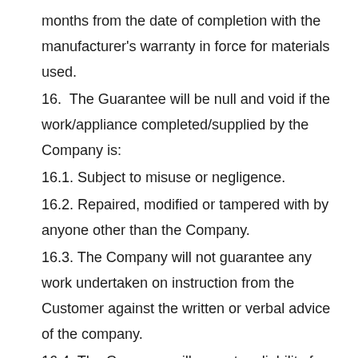months from the date of completion with the manufacturer's warranty in force for materials used.
16.  The Guarantee will be null and void if the work/appliance completed/supplied by the Company is:
16.1. Subject to misuse or negligence.
16.2. Repaired, modified or tampered with by anyone other than the Company.
16.3. The Company will not guarantee any work undertaken on instruction from the Customer against the written or verbal advice of the company.
16.4. The Company will accept no liability for, or guarantee suitability, materials supplied by the Customer and will accept no liability for any consequential damage or